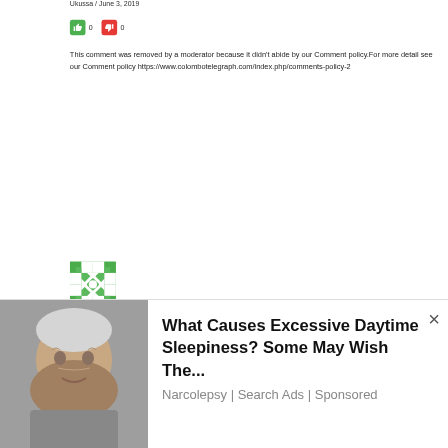Ukussa / June 3, 2019
[Figure (other): Thumbs up (green) and thumbs down (red) voting buttons with counts 0 and 0]
This comment was removed by a moderator because it didn’t abide by our Comment policy.For more detail see our Comment policy https://www.colombotelegraph.com/index.php/comments-policy-2
[Figure (other): Green geometric/floral avatar icon for user D.Nimal]
D.Nimal / June 3, 2019
[Figure (other): Advertisement overlay showing an elderly person with text: What Causes Excessive Daytime Sleepiness? Some May Wish The... Narcolepsy | Search Ads | Sponsored]